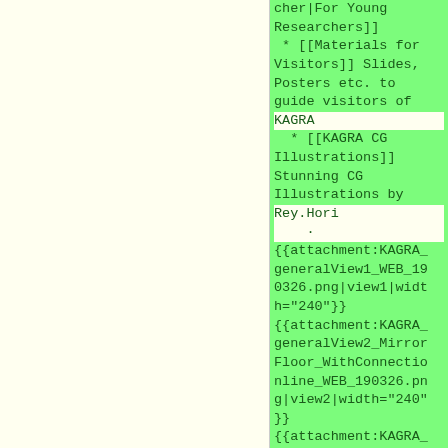* [[Materials for Visitors]] Slides, Posters etc. to guide visitors of KAGRA
* [[KAGRA CG Illustrations]] Stunning CG Illustrations by Rey.Hori
· {{attachment:KAGRA_generalView1_WEB_190326.png|view1|width="240"}} {{attachment:KAGRA_generalView2_MirrorFloor_WithConnectionline_WEB_190326.png|view2|width="240"}} {{attachment:KAGRA_mirrorDetail_WEB_19